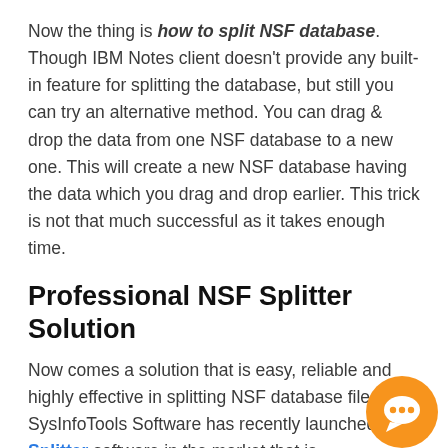Now the thing is how to split NSF database. Though IBM Notes client doesn't provide any built-in feature for splitting the database, but still you can try an alternative method. You can drag & drop the data from one NSF database to a new one. This will create a new NSF database having the data which you drag and drop earlier. This trick is not that much successful as it takes enough time.
Professional NSF Splitter Solution
Now comes a solution that is easy, reliable and highly effective in splitting NSF database files. SysInfoTools Software has recently launched NSF Splitter software in the market that is programmed to split a large-sized NSF database into multiple smaller parts in a safe mode. Safe mode means the entire operation is executed without causing any changes or alteration to the original database